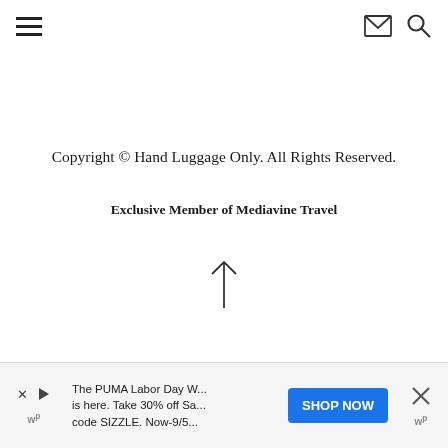Navigation bar with hamburger menu, envelope icon, and search icon
Copyright © Hand Luggage Only. All Rights Reserved.
Exclusive Member of Mediavine Travel
[Figure (other): Up arrow / back-to-top icon]
The PUMA Labor Day W... is here. Take 30% off Sa... code SIZZLE. Now-9/5... SHOP NOW